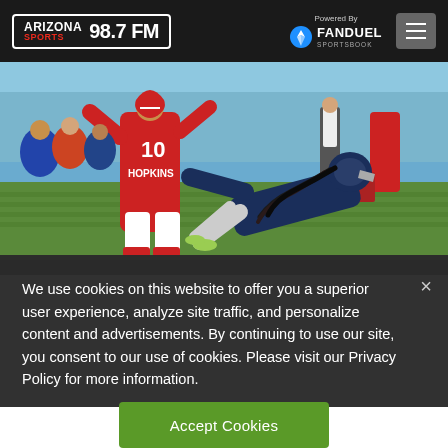Arizona Sports 98.7 FM — Powered By FanDuel Sportsbook
[Figure (photo): NFL football action photo showing Arizona Cardinals player HOPKINS #10 in red uniform being defended by a Tennessee Titans player in navy blue uniform diving on a grass field. Other players and officials visible in background.]
We use cookies on this website to offer you a superior user experience, analyze site traffic, and personalize content and advertisements. By continuing to use our site, you consent to our use of cookies. Please visit our Privacy Policy for more information.
Accept Cookies